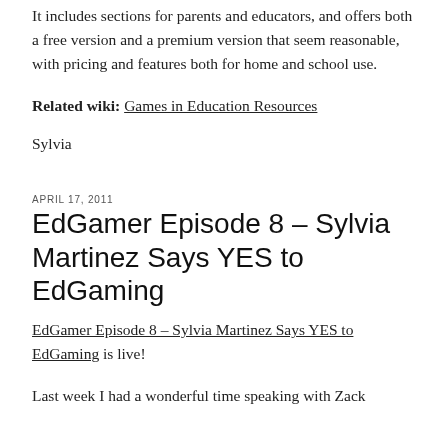It includes sections for parents and educators, and offers both a free version and a premium version that seem reasonable, with pricing and features both for home and school use.
Related wiki: Games in Education Resources
Sylvia
APRIL 17, 2011
EdGamer Episode 8 – Sylvia Martinez Says YES to EdGaming
EdGamer Episode 8 – Sylvia Martinez Says YES to EdGaming is live!
Last week I had a wonderful time speaking with Zack